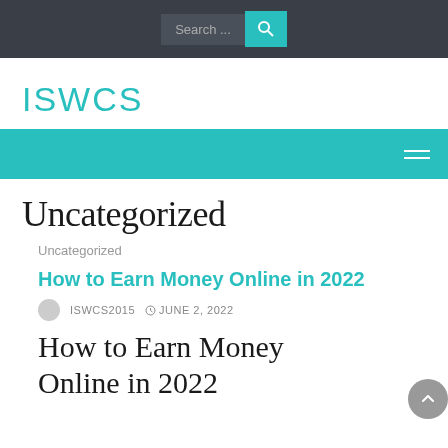Search ...
ISWCS
Uncategorized
Uncategorized
How to Earn Money Online in 2022
ISWCS2015  JUNE 2, 2022
How to Earn Money Online in 2022